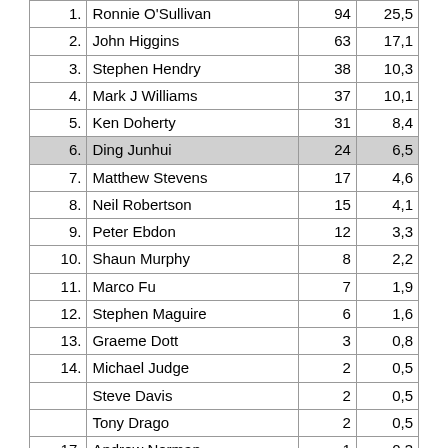|  | Name | Count | % |
| --- | --- | --- | --- |
| 1. | Ronnie O'Sullivan | 94 | 25,5 |
| 2. | John Higgins | 63 | 17,1 |
| 3. | Stephen Hendry | 38 | 10,3 |
| 4. | Mark J Williams | 37 | 10,1 |
| 5. | Ken Doherty | 31 | 8,4 |
| 6. | Ding Junhui | 24 | 6,5 |
| 7. | Matthew Stevens | 17 | 4,6 |
| 8. | Neil Robertson | 15 | 4,1 |
| 9. | Peter Ebdon | 12 | 3,3 |
| 10. | Shaun Murphy | 8 | 2,2 |
| 11. | Marco Fu | 7 | 1,9 |
| 12. | Stephen Maguire | 6 | 1,6 |
| 13. | Graeme Dott | 3 | 0,8 |
| 14. | Michael Judge | 2 | 0,5 |
|  | Steve Davis | 2 | 0,5 |
|  | Tony Drago | 2 | 0,5 |
| 17. | Andrew Norman | 1 | 0,3 |
|  | Mark Selby | 1 | 0,3 |
|  | Matthew Couch | 1 | 0,3 |
|  | Ryan Day | 1 | 0,3 |
|  | Ian McCulloch | 1 | 0,3 |
|  | Jimmy Michie | 1 | 0,3 |